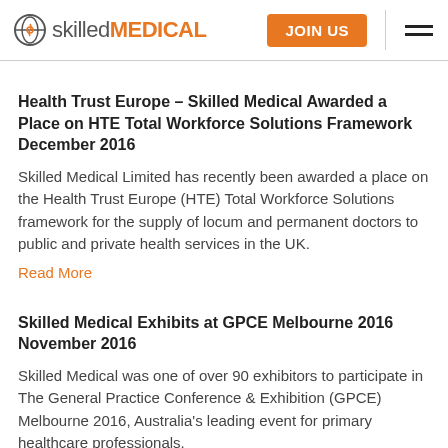skilled MEDICAL | JOIN US
Health Trust Europe – Skilled Medical Awarded a Place on HTE Total Workforce Solutions Framework
December 2016
Skilled Medical Limited has recently been awarded a place on the Health Trust Europe (HTE) Total Workforce Solutions framework for the supply of locum and permanent doctors to public and private health services in the UK.
Read More
Skilled Medical Exhibits at GPCE Melbourne 2016
November 2016
Skilled Medical was one of over 90 exhibitors to participate in The General Practice Conference & Exhibition (GPCE) Melbourne 2016, Australia's leading event for primary healthcare professionals.